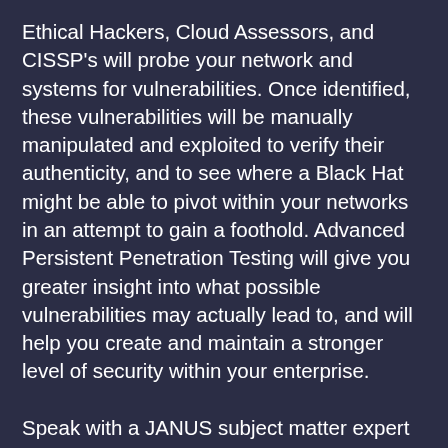Ethical Hackers, Cloud Assessors, and CISSP's will probe your network and systems for vulnerabilities. Once identified, these vulnerabilities will be manually manipulated and exploited to verify their authenticity, and to see where a Black Hat might be able to pivot within your networks in an attempt to gain a foothold. Advanced Persistent Penetration Testing will give you greater insight into what possible vulnerabilities may actually lead to, and will help you create and maintain a stronger level of security within your enterprise.
Speak with a JANUS subject matter expert today and find out how you and